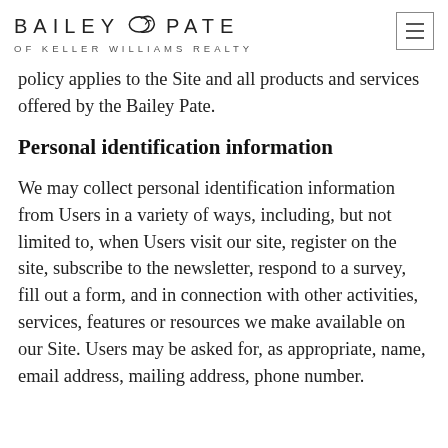BAILEY & PATE OF KELLER WILLIAMS REALTY
policy applies to the Site and all products and services offered by the Bailey Pate.
Personal identification information
We may collect personal identification information from Users in a variety of ways, including, but not limited to, when Users visit our site, register on the site, subscribe to the newsletter, respond to a survey, fill out a form, and in connection with other activities, services, features or resources we make available on our Site. Users may be asked for, as appropriate, name, email address, mailing address, phone number.